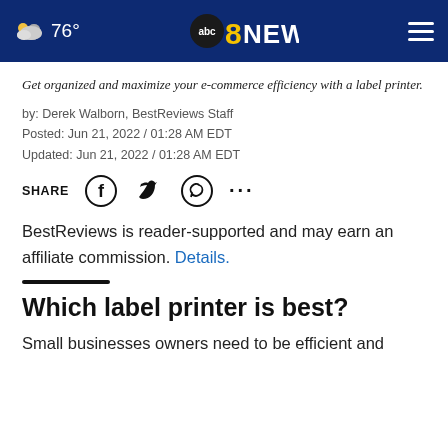76° abc8NEWS
Get organized and maximize your e-commerce efficiency with a label printer.
by: Derek Walborn, BestReviews Staff
Posted: Jun 21, 2022 / 01:28 AM EDT
Updated: Jun 21, 2022 / 01:28 AM EDT
SHARE [Facebook] [Twitter] [WhatsApp] [...]
BestReviews is reader-supported and may earn an affiliate commission. Details.
Which label printer is best?
Small businesses owners need to be efficient and